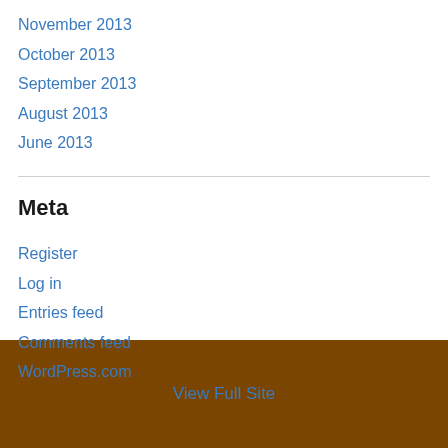November 2013
October 2013
September 2013
August 2013
June 2013
Meta
Register
Log in
Entries feed
Comments feed
WordPress.com
View Full Site